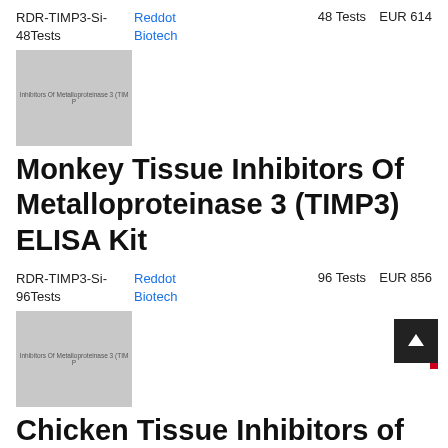RDR-TIMP3-Si-48Tests	Reddot Biotech	48 Tests	EUR 614
[Figure (photo): Product image placeholder for Tissue Inhibitors Of Metalloproteinase 3 (TIMP) kit, gray rectangle with text overlay]
Monkey Tissue Inhibitors Of Metalloproteinase 3 (TIMP3) ELISA Kit
RDR-TIMP3-Si-96Tests	Reddot Biotech	96 Tests	EUR 856
[Figure (photo): Product image placeholder for Tissue Inhibitors Of Metalloproteinase 3 (TIMP) kit, gray rectangle with text overlay]
Chicken Tissue Inhibitors of